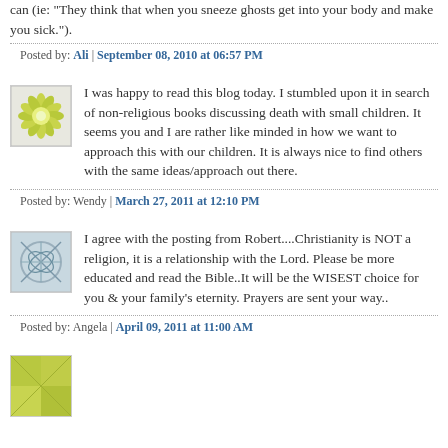can (ie: "They think that when you sneeze ghosts get into your body and make you sick.").
Posted by: Ali | September 08, 2010 at 06:57 PM
[Figure (illustration): Green/yellow flower/sunburst avatar icon]
I was happy to read this blog today. I stumbled upon it in search of non-religious books discussing death with small children. It seems you and I are rather like minded in how we want to approach this with our children. It is always nice to find others with the same ideas/approach out there.
Posted by: Wendy | March 27, 2011 at 12:10 PM
[Figure (illustration): Gray/blue abstract lines avatar icon]
I agree with the posting from Robert....Christianity is NOT a religion, it is a relationship with the Lord. Please be more educated and read the Bible..It will be the WISEST choice for you & your family's eternity. Prayers are sent your way..
Posted by: Angela | April 09, 2011 at 11:00 AM
[Figure (illustration): Green/yellow textured avatar icon (partial)]